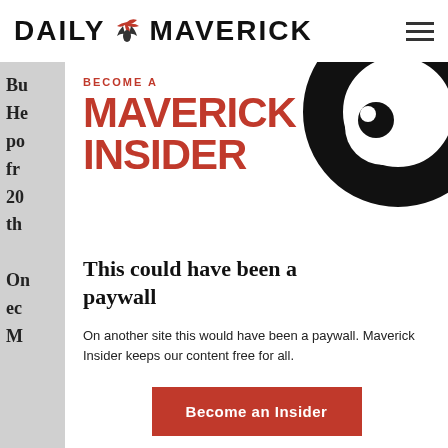DAILY MAVERICK
[Figure (logo): Daily Maverick logo with eagle and wordmark]
Bu... He... po... fr... 20... th... On... ec... M...
[Figure (illustration): Maverick Insider promotional banner: BECOME A MAVERICK INSIDER in red bold text on white background with black swirl graphic]
This could have been a paywall
On another site this would have been a paywall. Maverick Insider keeps our content free for all.
Become an Insider
Already an Insider? Click here to log in.